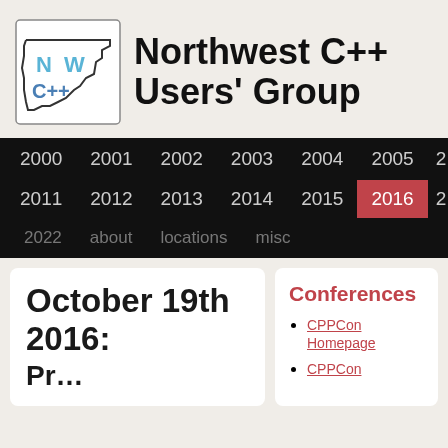Northwest C++ Users' Group
[Figure (logo): NW C++ Users Group logo with Washington state outline and NW C++ text in blue]
2000 2001 2002 2003 2004 2005 | 2011 2012 2013 2014 2015 2016 (active)
2022  about  locations  misc
October 19th 2016:
Conferences
CPPCon Homepage
CPPCon